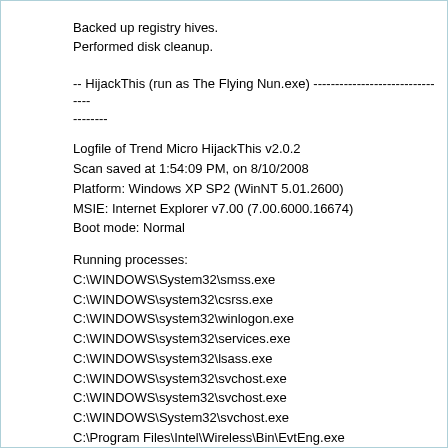Backed up registry hives.
Performed disk cleanup.
-- HijackThis (run as The Flying Nun.exe) ----------------------------------------
Logfile of Trend Micro HijackThis v2.0.2
Scan saved at 1:54:09 PM, on 8/10/2008
Platform: Windows XP SP2 (WinNT 5.01.2600)
MSIE: Internet Explorer v7.00 (7.00.6000.16674)
Boot mode: Normal
Running processes:
C:\WINDOWS\System32\smss.exe
C:\WINDOWS\system32\csrss.exe
C:\WINDOWS\system32\winlogon.exe
C:\WINDOWS\system32\services.exe
C:\WINDOWS\system32\lsass.exe
C:\WINDOWS\system32\svchost.exe
C:\WINDOWS\system32\svchost.exe
C:\WINDOWS\System32\svchost.exe
C:\Program Files\Intel\Wireless\Bin\EvtEng.exe
C:\Program Files\Intel\Wireless\Bin\S24EvMon.exe
C:\WINDOWS\system32\svchost.exe
C:\WINDOWS\system32\svchost.exe
C:\Program Files\Lavasoft\Ad-Aware\aawservice.exe
C:\WINDOWS\system32\spoolsv.exe